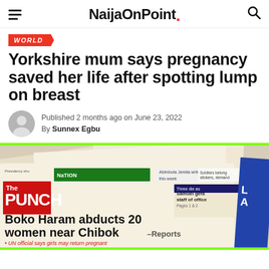NaijaOnPoint
WORLD
Yorkshire mum says pregnancy saved her life after spotting lump on breast
Published 2 months ago on June 23, 2022
By Sunnex Egbu
[Figure (photo): Stack of Nigerian newspapers including The Punch with headline 'Boko Haram abducts 20 women near Chibok – Reports']